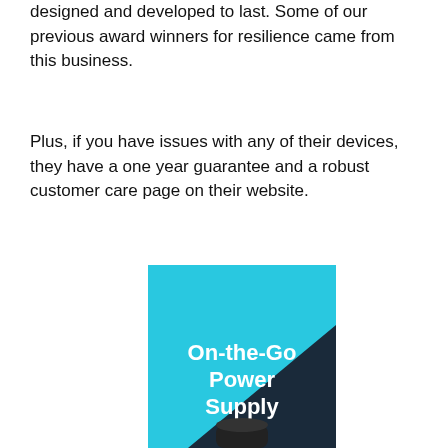designed and developed to last. Some of our previous award winners for resilience came from this business.
Plus, if you have issues with any of their devices, they have a one year guarantee and a robust customer care page on their website.
[Figure (illustration): Product image on cyan/light blue background with a dark navy triangle shape and bold white text reading 'On-the-Go Power Supply', with a black cylindrical power bank device at the bottom.]